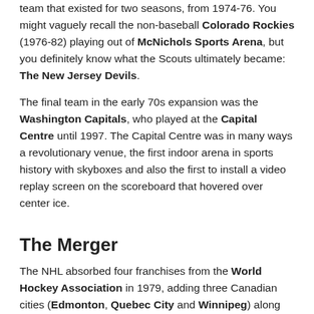team that existed for two seasons, from 1974-76. You might vaguely recall the non-baseball Colorado Rockies (1976-82) playing out of McNichols Sports Arena, but you definitely know what the Scouts ultimately became: The New Jersey Devils.
The final team in the early 70s expansion was the Washington Capitals, who played at the Capital Centre until 1997. The Capital Centre was in many ways a revolutionary venue, the first indoor arena in sports history with skyboxes and also the first to install a video replay screen on the scoreboard that hovered over center ice.
The Merger
The NHL absorbed four franchises from the World Hockey Association in 1979, adding three Canadian cities (Edmonton, Quebec City and Winnipeg) along with an unlikely U.S. entry: Hartford, CT. And the Whalers would have arguably — perhaps fittingly — the most inauspicious debut into a major professional league. The Hartford Whalers, their name and logo having changed from their WHA iteration, became the New England Whalers and actually played their first NHL home game up